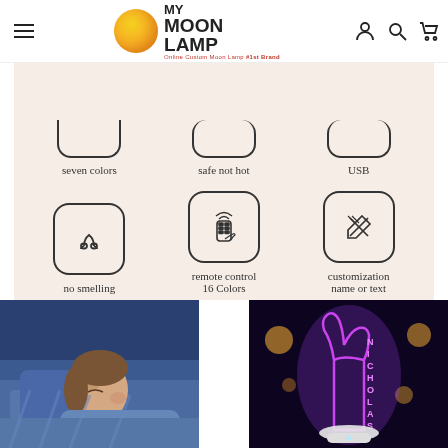My Moon Lamp — Online Custom Moon Lamp #1st Brand
[Figure (infographic): Product features infographic on cream/beige background showing 6 feature icons in a 3x2 grid: seven colors, safe not hot, USB, no smelling, remote control 16 Colors, customization name or text]
[Figure (photo): Photo of a child sleeping in bed with blue-toned lighting]
[Figure (photo): Photo of a purple glowing dinosaur LED lamp with the name NICHOLAS on a dark background with bokeh lights]